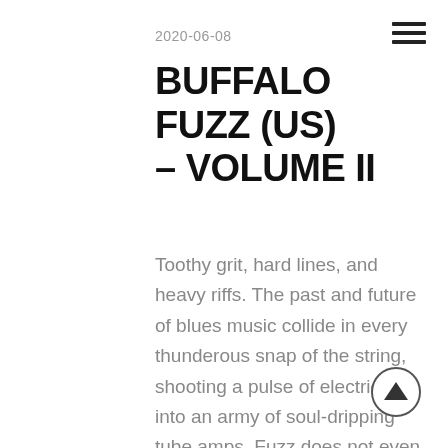2020-06-08
BUFFALO FUZZ (US) – VOLUME II
Toothy grit, hard lines, and heavy riffs. The past and future of blues music collide in every thunderous snap of the string, shooting a pulse of electricity into an army of soul-dripping tube amps. Fuzz does not even begin to tell the tale of tone....
[Figure (illustration): Hamburger menu icon (three horizontal lines) in top right corner]
[Figure (illustration): Back to top button — circle with upward-pointing triangle arrow, bottom right corner]